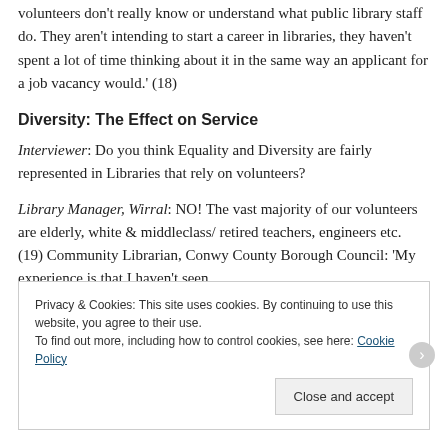volunteers don't really know or understand what public library staff do. They aren't intending to start a career in libraries, they haven't spent a lot of time thinking about it in the same way an applicant for a job vacancy would.' (18)
Diversity: The Effect on Service
Interviewer: Do you think Equality and Diversity are fairly represented in Libraries that rely on volunteers?
Library Manager, Wirral: NO! The vast majority of our volunteers are elderly, white & middleclass/ retired teachers, engineers etc. (19) Community Librarian, Conwy County Borough Council: 'My experience is that I haven't seen
Privacy & Cookies: This site uses cookies. By continuing to use this website, you agree to their use.
To find out more, including how to control cookies, see here: Cookie Policy
Close and accept